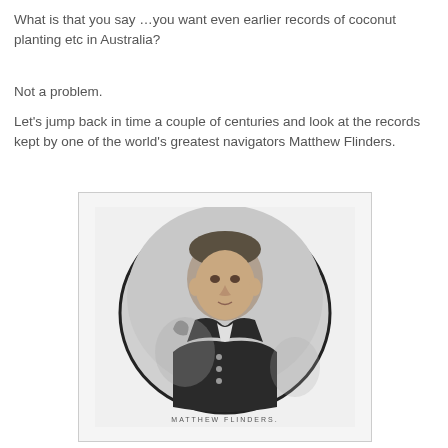What is that you say …you want even earlier records of coconut planting etc in Australia?
Not a problem.
Let's jump back in time a couple of centuries and look at the records kept by one of the world's greatest navigators Matthew Flinders.
[Figure (illustration): Black and white oval portrait engraving of Matthew Flinders in naval uniform, with caption 'MATTHEW FLINDERS.' below]
MATTHEW FLINDERS.